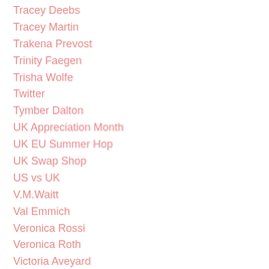Tracey Deebs
Tracey Martin
Trakena Prevost
Trinity Faegen
Trisha Wolfe
Twitter
Tymber Dalton
UK Appreciation Month
UK EU Summer Hop
UK Swap Shop
US vs UK
V.M.Waitt
Val Emmich
Veronica Rossi
Veronica Roth
Victoria Aveyard
Victoria Scott
Virginia Boecker
Waiting on Wednesday
Weekly updates